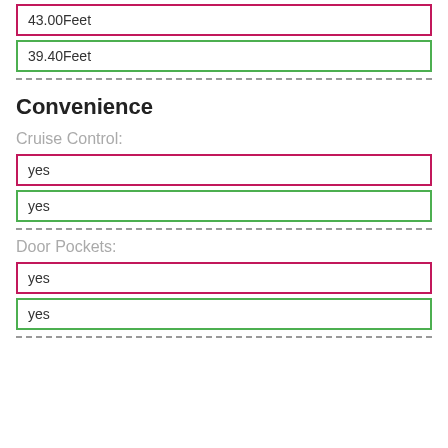43.00Feet
39.40Feet
Convenience
Cruise Control:
yes
yes
Door Pockets:
yes
yes